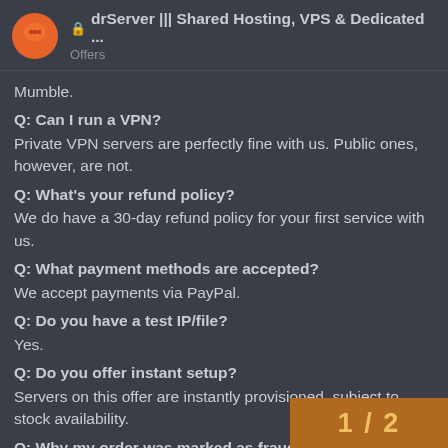🔒 drServer ||| Shared Hosting, VPS & Dedicated ... Offers
Mumble.
Q: Can I run a VPN?
Private VPN servers are perfectly fine with us. Public ones, however, are not.
Q: What's your refund policy?
We do have a 30-day refund policy for your first service with us.
Q: What payment methods are accepted?
We accept payments via PayPal.
Q: Do you have a test IP/file?
Yes.
Q: Do you offer instant setup?
Servers on this offer are instantly provisioned, subject to stock availability.
Q: Why my order was marked as fraud?
The usual reason for an order, being marked as fraud is if you place it from a VPN/Server IP. We do not allow such kind of orders, so if you intend to order with a VPN, it will be marked as fraud. If you are on vacation/holiday and li... country, please contact us prior to ordering
1 / 2